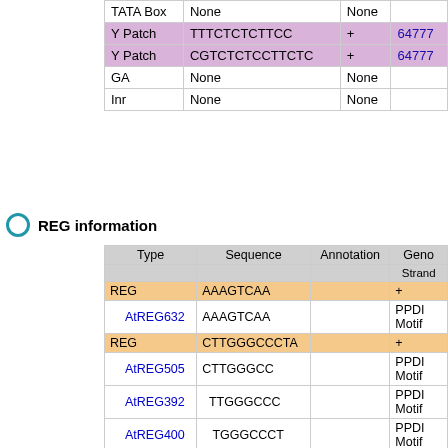| Type | Sequence | Annotation | Geno Strand |
| --- | --- | --- | --- |
| TATA Box | None | None |  |
| Y Patch | TTTCTCTCTTCC | + | 64777... |
| Y Patch | CGTCTCTCCTTCTC | + | 64777... |
| GA | None | None |  |
| Inr | None | None |  |
REG information
| Type | Sequence | Annotation | Geno Strand |
| --- | --- | --- | --- |
| REG | AAAGTCAA |  | + |
| AtREG632 | AAAGTCAA |  | PPDI Motif |
| REG | CTTGGGCCCTA |  | + |
| AtREG505 | CTTGGGCC |  | PPDI Motif |
| AtREG392 | TTGGGCCC |  | PPDI Motif |
| AtREG400 | TGGGCCCT |  | PPDI Motif |
| AtREG387 | GGGCCCTA |  | PPDI Motif |
| REG | TATATGGGCTAA |  | + |
| AtREG620 | TATATGGG |  | PPDI Motif |
| AtREG432 | ATATGGGC |  | PPDI Motif |